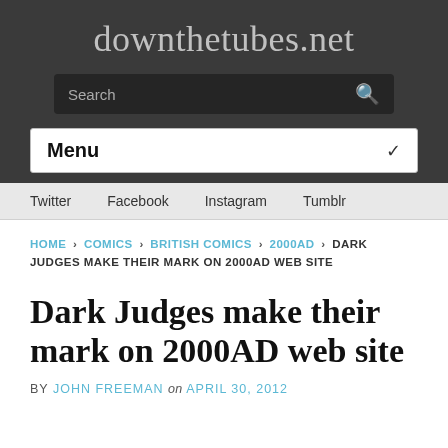downthetubes.net
Search
Menu
Twitter   Facebook   Instagram   Tumblr
HOME › COMICS › BRITISH COMICS › 2000AD › DARK JUDGES MAKE THEIR MARK ON 2000AD WEB SITE
Dark Judges make their mark on 2000AD web site
BY JOHN FREEMAN on APRIL 30, 2012